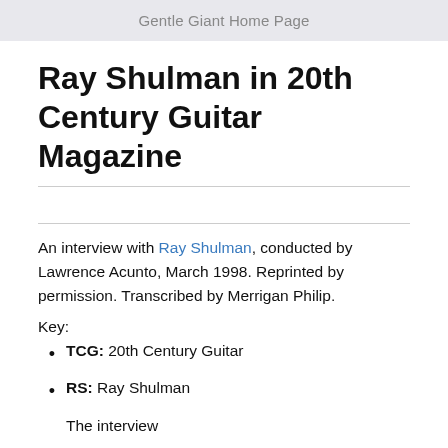Gentle Giant Home Page
Ray Shulman in 20th Century Guitar Magazine
An interview with Ray Shulman, conducted by Lawrence Acunto, March 1998. Reprinted by permission. Transcribed by Merrigan Philip.
Key:
TCG: 20th Century Guitar
RS: Ray Shulman
The interview